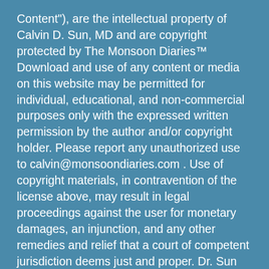Content"), are the intellectual property of Calvin D. Sun, MD and are copyright protected by The Monsoon Diaries™ Download and use of any content or media on this website may be permitted for individual, educational, and non-commercial purposes only with the expressed written permission by the author and/or copyright holder. Please report any unauthorized use to calvin@monsoondiaries.com . Use of copyright materials, in contravention of the license above, may result in legal proceedings against the user for monetary damages, an injunction, and any other remedies and relief that a court of competent jurisdiction deems just and proper. Dr. Sun also hereby disclaims any and all liability to any party for any direct, indirect, implied, punitive, special, incidental or other consequential damages arising directly or indirectly from any use of the Media Content, which is provided as is, and without